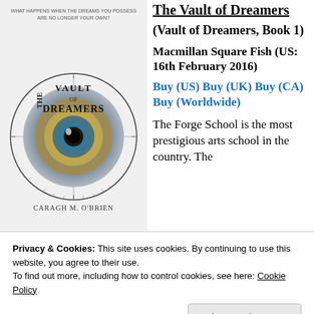[Figure (photo): Book cover of 'The Vault of Dreamers' by Caragh M. O'Brien, featuring a large eye in the center surrounded by circular design elements]
The Vault of Dreamers
(Vault of Dreamers, Book 1)
Macmillan Square Fish (US: 16th February 2016)
Buy (US) Buy (UK) Buy (CA) Buy (Worldwide)
The Forge School is the most prestigious arts school in the country. The
Privacy & Cookies: This site uses cookies. By continuing to use this website, you agree to their use.
To find out more, including how to control cookies, see here: Cookie Policy
Close and accept
year student Rosie Sinclair skips her sleeping pill, she